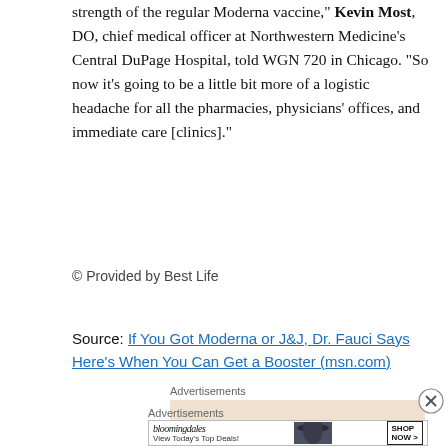strength of the regular Moderna vaccine," Kevin Most, DO, chief medical officer at Northwestern Medicine's Central DuPage Hospital, told WGN 720 in Chicago. "So now it's going to be a little bit more of a logistic headache for all the pharmacies, physicians' offices, and immediate care [clinics]."
© Provided by Best Life
Source: If You Got Moderna or J&J, Dr. Fauci Says Here's When You Can Get a Booster (msn.com)
Advertisements
[Figure (other): Bloomingdales advertisement banner showing logo, 'View Today's Top Deals!' text, woman with hat, and 'SHOP NOW >' button]